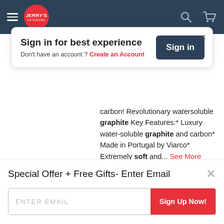[Figure (screenshot): Jerry's Artarama website navbar with hamburger menu, logo, search and cart icons on dark blue background]
Sign in for best experience
Don't have an account ? Create an Account
carbon! Revolutionary watersoluble graphite Key Features:* Luxury water-soluble graphite and carbon* Made in Portugal by Viarco* Extremely soft and... See More
[Figure (screenshot): Shop Now button (red), heart icon button, play icon button]
Special Offer + Free Gifts- Enter Email
ENTER EMAIL